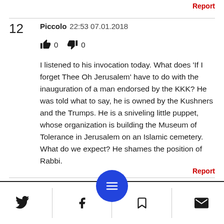Report
12  Piccolo  22:53 07.01.2018
👍 0   👎 0
I listened to his invocation today. What does 'If I forget Thee Oh Jerusalem' have to do with the inauguration of a man endorsed by the KKK? He was told what to say, he is owned by the Kushners and the Trumps. He is a sniveling little puppet, whose organization is building the Museum of Tolerance in Jerusalem on an Islamic cemetery. What do we expect? He shames the position of Rabbi.
Report